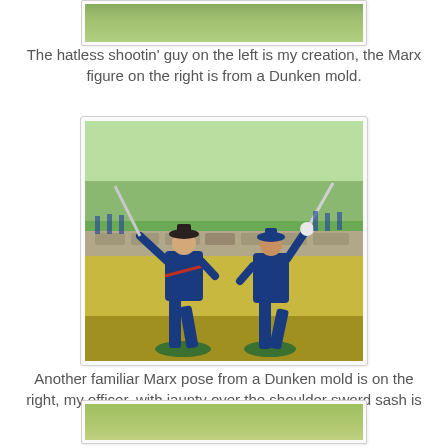[Figure (photo): Partial top image showing toy soldier figures on green grass bases]
The hatless shootin' guy on the left is my creation, the Marx figure on the right is from a Dunken mold.
[Figure (photo): Two painted toy soldier figures in blue Civil War uniforms holding swords aloft, posed in front of a painted battlefield diorama backdrop with stone wall and trees]
Another familiar Marx pose from a Dunken mold is on the right, my officer, with jaunty over the shoulder sword sash is on the left.
[Figure (photo): Partial bottom image showing beginning of another toy soldier photo]